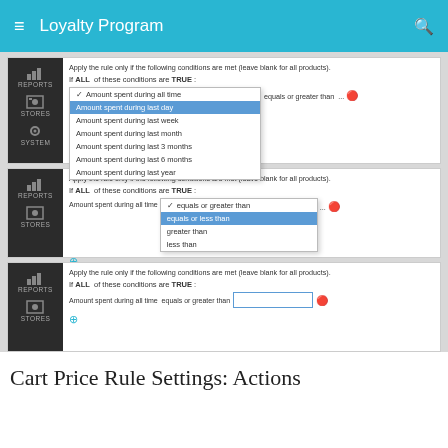Loyalty Program
[Figure (screenshot): Screenshot panel 1: Apply the rule only if the following conditions are met (leave blank for all products). If ALL of these conditions are TRUE: dropdown showing options: Amount spent during all time (checked), Amount spent during last day (highlighted blue), Amount spent during last week, Amount spent during last month, Amount spent during last 3 months, Amount spent during last 6 months, Amount spent during last year. Then 'equals or greater than ...' with remove button. Actions label visible.]
[Figure (screenshot): Screenshot panel 2: Apply the rule only if the following conditions are met (leave blank for all products). If ALL of these conditions are TRUE: Amount spent during all time [dropdown: equals or greater than (checked), equals or less than (highlighted blue), greater than, less than] ... with remove button. Plus button below.]
[Figure (screenshot): Screenshot panel 3: Apply the rule only if the following conditions are met (leave blank for all products). If ALL of these conditions are TRUE: Amount spent during all time equals or greater than [text input field] with remove button. Plus button below.]
Cart Price Rule Settings: Actions